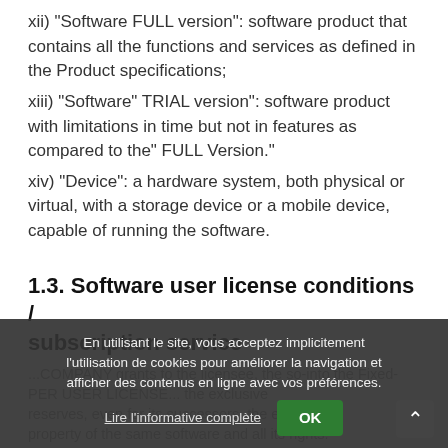xii) “Software FULL version”: software product that contains all the functions and services as defined in the Product specifications;
xiii) “Software” TRIAL version”: software product with limitations in time but not in features as compared to the” FULL Version.”
xiv) “Device”: a hardware system, both physical or virtual, with a storage device or a mobile device, capable of running the software.
1.3. Software user license conditions / subscription service
...COMPANY grants to the licensee, the so-into the Fixed-PER USER LICENSE... reserves, even for its successors, the exclusive property of the same software and all its rights.
En utilisant le site, vous acceptez implicitement l’utilisation de cookies pour améliorer la navigation et afficher des contenus en ligne avec vos préférences.
Lire l’informative complète   OK